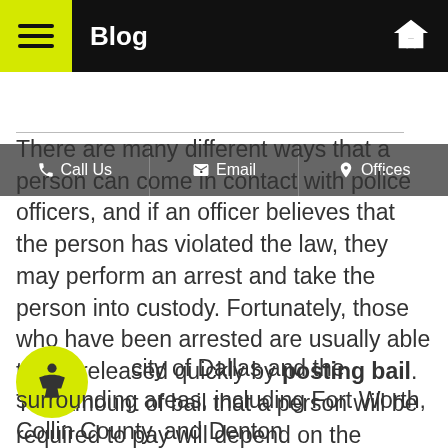Blog
Call Us | Email | Offices
There are many different ways that a person can come in contact with police officers, and if an officer believes that the person has violated the law, they may perform an arrest and take the person into custody. Fortunately, those who have been arrested are usually able to get released quickly by posting bail. The amount of bail that a person will be required to pay will depend on the severity of their offense, their past history of arrests or convictions, and whether they may attempt to flee the area to avoid criminal prosecution.
...city of Dallas and the surrounding areas, including Fort Worth, Collin County, and Denton